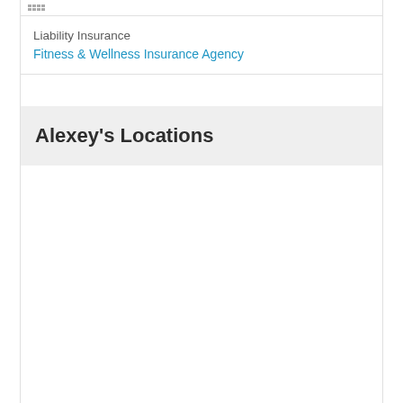Liability Insurance
Fitness & Wellness Insurance Agency
Alexey's Locations